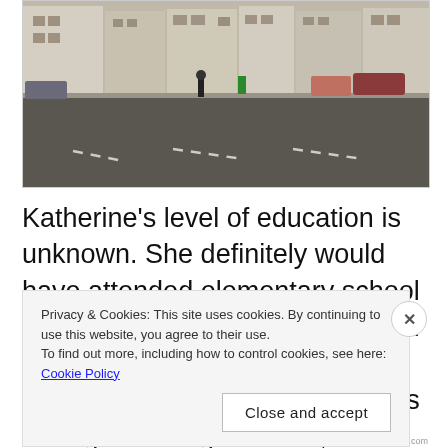[Figure (photo): Street scene photograph showing a British high street with buildings, pedestrian, parked cars, and road markings]
Katherine’s level of education is unknown. She definitely would have attended elementary school – probably at the National School for Girls – and she may have gone further, likely to the Devizes College and High School, as the
Privacy & Cookies: This site uses cookies. By continuing to use this website, you agree to their use.
To find out more, including how to control cookies, see here: Cookie Policy
Close and accept